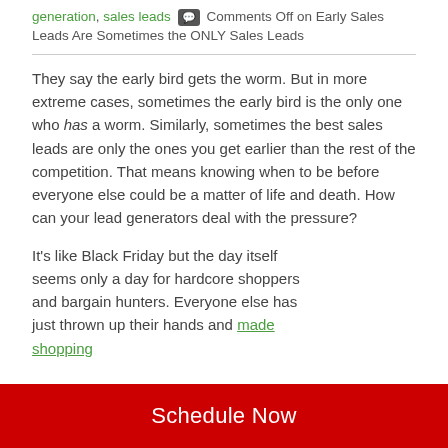generation, sales leads  💬 Comments Off on Early Sales Leads Are Sometimes the ONLY Sales Leads
They say the early bird gets the worm. But in more extreme cases, sometimes the early bird is the only one who has a worm. Similarly, sometimes the best sales leads are only the ones you get earlier than the rest of the competition. That means knowing when to be before everyone else could be a matter of life and death. How can your lead generators deal with the pressure?
It's like Black Friday but the day itself seems only a day for hardcore shoppers and bargain hunters. Everyone else has just thrown up their hands and made shopping
Schedule Now